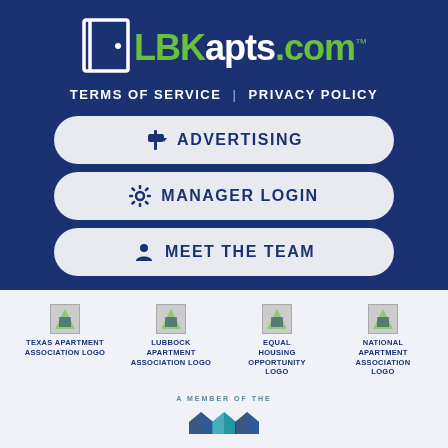[Figure (logo): LBKapts.com logo with door icon and green/white text on dark blue background]
TERMS OF SERVICE  |  PRIVACY POLICY
ADVERTISING
MANAGER LOGIN
MEET THE TEAM
[Figure (logo): Texas Apartment Association Logo]
[Figure (logo): Lubbock Apartment Association Logo]
[Figure (logo): Equal Housing Opportunity Logo]
[Figure (logo): National Apartment Association Logo]
A MEMBER OF THE